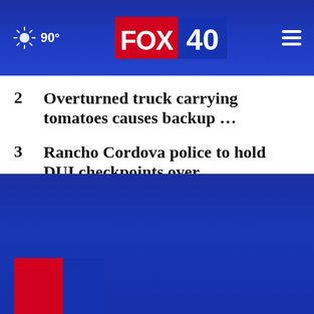FOX 40  90°
2  Overturned truck carrying tomatoes causes backup …
3  Rancho Cordova police to hold DUI checkpoints over …
4  These are the shelters and places where the unhoused …
5  Car split in half in Sacramento crash
6  Brother of murdered Land Park woman speaks out against …
FOX 40